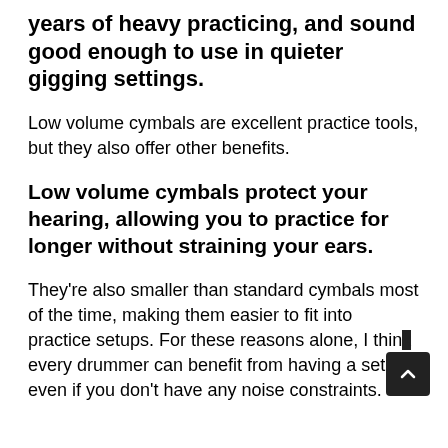years of heavy practicing, and sound good enough to use in quieter gigging settings.
Low volume cymbals are excellent practice tools, but they also offer other benefits.
Low volume cymbals protect your hearing, allowing you to practice for longer without straining your ears.
They're also smaller than standard cymbals most of the time, making them easier to fit into practice setups. For these reasons alone, I think every drummer can benefit from having a set, even if you don't have any noise constraints.